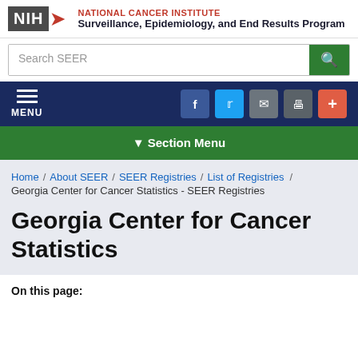NIH - NATIONAL CANCER INSTITUTE - Surveillance, Epidemiology, and End Results Program
Search SEER
[Figure (screenshot): Navigation bar with hamburger menu (MENU) on left and social/share icons (Facebook, Twitter, Email, Print, Plus) on right, dark navy background]
▼ Section Menu
Home / About SEER / SEER Registries / List of Registries / Georgia Center for Cancer Statistics - SEER Registries
Georgia Center for Cancer Statistics
On this page: